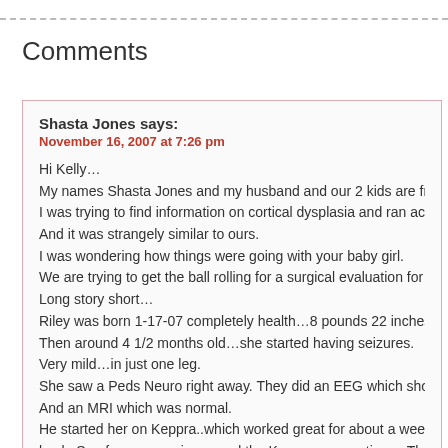Comments
Shasta Jones says:
November 16, 2007 at 7:26 pm
Hi Kelly…
My names Shasta Jones and my husband and our 2 kids are from M
I was trying to find information on cortical dysplasia and ran across
And it was strangely similar to ours.
I was wondering how things were going with your baby girl.
We are trying to get the ball rolling for a surgical evaluation for our d
Long story short…
Riley was born 1-17-07 completely health…8 pounds 22 inches.
Then around 4 1/2 months old…she started having seizures.
Very mild…in just one leg.
She saw a Peds Neuro right away. They did an EEG which showed
And an MRI which was normal.
He started her on Keppra..which worked great for about a week, the
back. So of course we increased the Keppra…many times. Then st